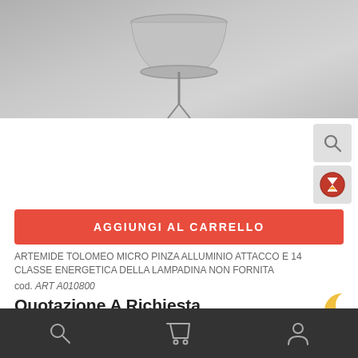[Figure (photo): Product photo of Artemide Tolomeo Micro clip lamp in aluminium against a grey background]
AGGIUNGI AL CARRELLO
ARTEMIDE TOLOMEO MICRO PINZA ALLUMINIO ATTACCO E 14 CLASSE ENERGETICA DELLA LAMPADINA NON FORNITA
cod. ART A010800
Quotazione A Richiesta
[Figure (screenshot): A white rounded-corner content box below the price]
Navigation bar with search, cart, and user icons